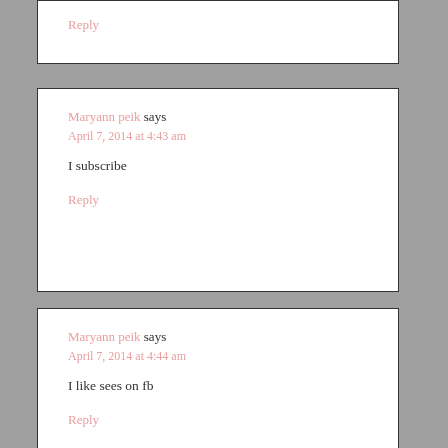Reply
Maryann peik says
April 7, 2014 at 4:43 am
I subscribe
Reply
Maryann peik says
April 7, 2014 at 4:44 am
I like sees on fb
Reply